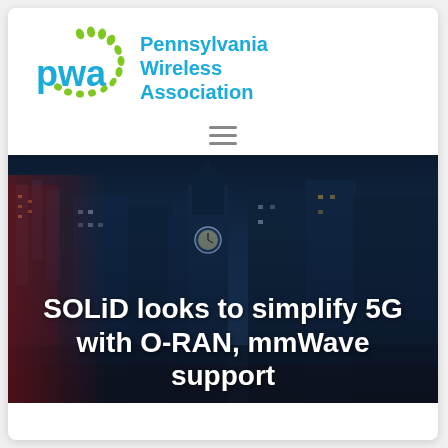[Figure (logo): Pennsylvania Wireless Association logo with 'pwa' text in blue and green dot pattern surrounding it, alongside the full organization name in blue]
[Figure (other): Hamburger menu icon (three horizontal lines) for navigation]
[Figure (photo): Hero image showing a city street with tall buildings and a clock tower in the background, dark blue evening tone]
SOLiD looks to simplify 5G with O-RAN, mmWave support